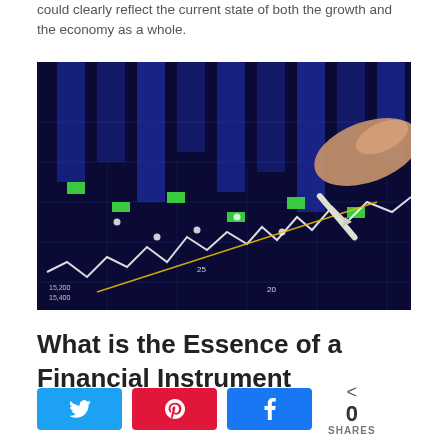could clearly reflect the current state of both the growth and the economy as a whole.
[Figure (photo): Close-up photo of a hand holding a stylus pointing at a financial trading screen showing stock charts, candlestick patterns, and market data displayed on a dark blue/purple digital display.]
What is the Essence of a Financial Instrument
0 SHARES with Twitter, Pinterest, and Facebook share buttons